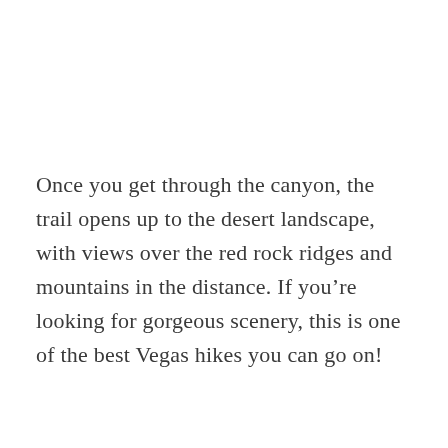Once you get through the canyon, the trail opens up to the desert landscape, with views over the red rock ridges and mountains in the distance. If you're looking for gorgeous scenery, this is one of the best Vegas hikes you can go on!